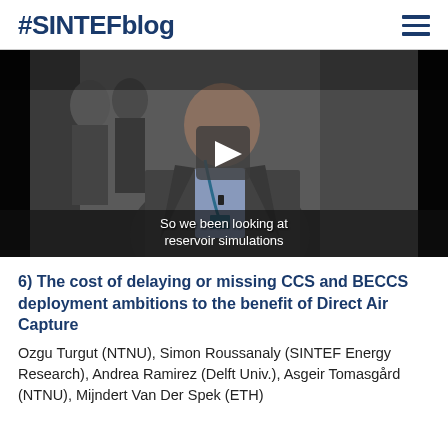#SINTEFblog
[Figure (photo): Video thumbnail showing a man in a grey suit with a microphone clip, standing in a corridor with other people in the background. A play button overlay is visible. Subtitle text reads: 'So we been looking at reservoir simulations']
6) The cost of delaying or missing CCS and BECCS deployment ambitions to the benefit of Direct Air Capture
Ozgu Turgut (NTNU), Simon Roussanaly (SINTEF Energy Research), Andrea Ramirez (Delft Univ.), Asgeir Tomasgård (NTNU), Mijndert Van Der Spek (ETH)